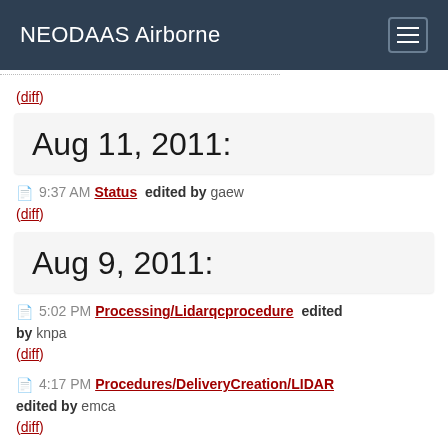NEODAAS Airborne
(diff)
Aug 11, 2011:
9:37 AM Status edited by gaew
(diff)
Aug 9, 2011:
5:02 PM Processing/Lidarqcprocedure edited by knpa
(diff)
4:17 PM Procedures/DeliveryCreation/LIDAR edited by emca
(diff)